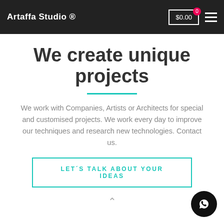Artaffa Studio ®  $0.00  0
We create unique projects
We work with Companies, Artists or Architects for special and customised projects. We work every day to improve our techniques and research new technologies. Contact us.
LET´S TALK ABOUT YOUR IDEAS